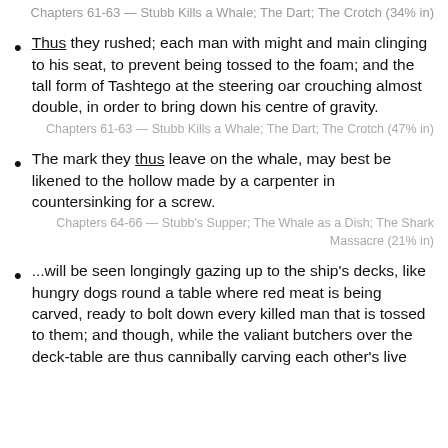Chapters 61-63 — Stubb Kills a Whale; The Dart; The Crotch (34% in)
Thus they rushed; each man with might and main clinging to his seat, to prevent being tossed to the foam; and the tall form of Tashtego at the steering oar crouching almost double, in order to bring down his centre of gravity.
Chapters 61-63 — Stubb Kills a Whale; The Dart; The Crotch (47% in)
The mark they thus leave on the whale, may best be likened to the hollow made by a carpenter in countersinking for a screw.
Chapters 64-66 — Stubb's Supper; The Whale as a Dish; The Shark Massacre (21% in)
...will be seen longingly gazing up to the ship's decks, like hungry dogs round a table where red meat is being carved, ready to bolt down every killed man that is tossed to them; and though, while the valiant butchers over the deck-table are thus cannibally carving each other's live